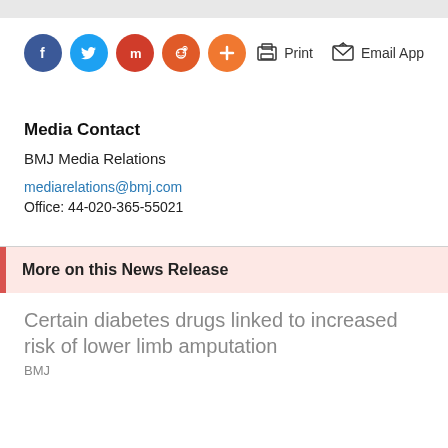[Figure (other): Social sharing icons: Facebook (blue circle), Twitter (light blue circle), Mix (dark red circle), Reddit (orange circle), Plus/More (orange circle)]
[Figure (other): Print icon with label 'Print' and Email App icon with label 'Email App']
Media Contact
BMJ Media Relations
mediarelations@bmj.com
Office: 44-020-365-55021
More on this News Release
Certain diabetes drugs linked to increased risk of lower limb amputation
BMJ